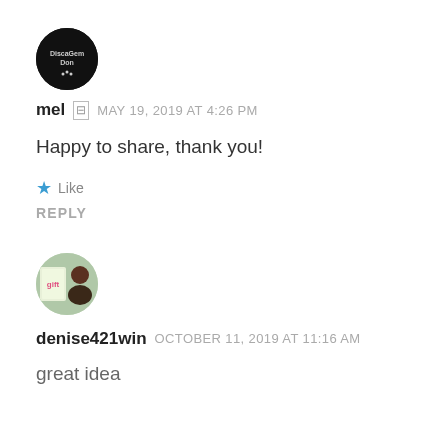[Figure (logo): Circular black avatar with text 'DiscaGemDon' for user mel]
mel  MAY 19, 2019 AT 4:26 PM
Happy to share, thank you!
★ Like
REPLY
[Figure (photo): Circular avatar photo for user denise421win showing a person]
denise421win  OCTOBER 11, 2019 AT 11:16 AM
great idea